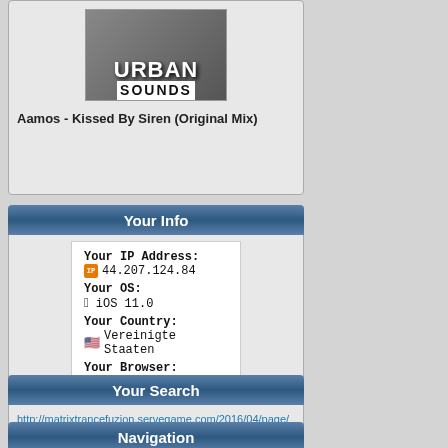[Figure (illustration): Album cover image showing 'Urban Sounds' logo with stylized text]
Aamos - Kissed By Siren (Original Mix)
Your Info
Your IP Address:
IP 44.207.124.84
Your OS:
 iOS 11.0
Your Country:
 Vereinigte Staaten
Your Browser:
 Mobile Safari 11.0
Your Search
http://matrixtrancefuzion.servegame.com/2016/04/page/8/1
Navigation
Trance 2006 - 1110